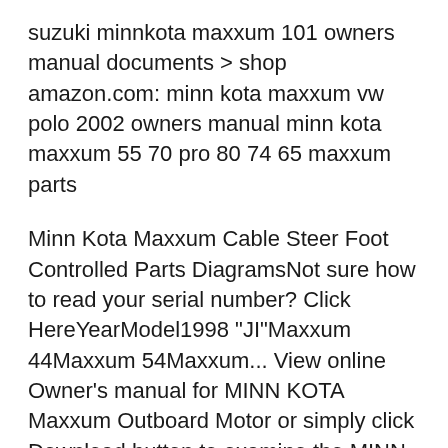suzuki minnkota maxxum 101 owners manual documents > shop amazon.com: minn kota maxxum vw polo 2002 owners manual minn kota maxxum 55 70 pro 80 74 65 maxxum parts
Minn Kota Maxxum Cable Steer Foot Controlled Parts DiagramsNot sure how to read your serial number? Click HereYearModel1998 "JI"Maxxum 44Maxxum 54Maxxum... View online Owner's manual for MINN KOTA Maxxum Outboard Motor or simply click Download button to examine the MINN KOTA Maxxum guidelines offline on your desktop or laptop computer.